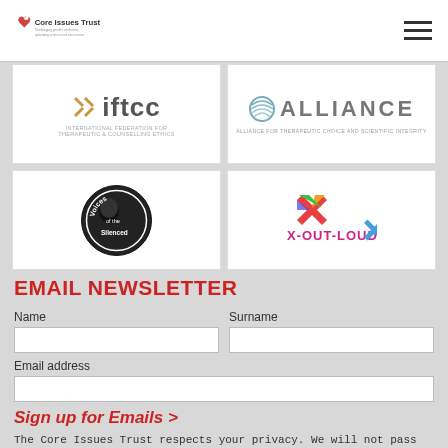Core Issues Trust — Challenging gender confusion, upholding science and conscience
[Figure (logo): IFTCC logo — International Federation for Therapeutic & Counselling Ethics]
[Figure (logo): Alliance logo — Alliance for Therapeutic Choice and Scientific Integrity]
[Figure (logo): Voices of the Silenced circular logo with silhouette]
[Figure (logo): X-OUT-LOUD colorful X logo with text]
EMAIL NEWSLETTER
Name
Surname
Email address
Sign up for Emails >
The Core Issues Trust respects your privacy. We will not pass your details to anyone else and you can unsubscribe from our mailing list easily.